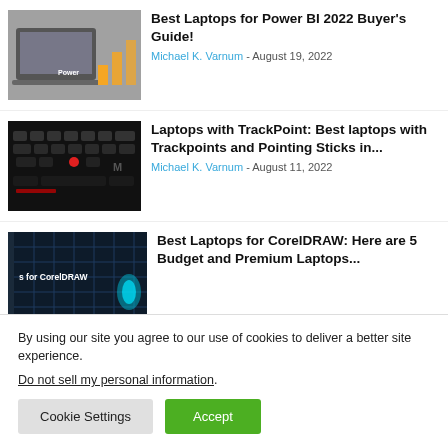[Figure (photo): Laptop with Power BI bar chart thumbnail]
Best Laptops for Power BI 2022 Buyer's Guide!
Michael K. Varnum - August 19, 2022
[Figure (photo): Laptop keyboard with red TrackPoint thumbnail]
Laptops with TrackPoint: Best laptops with Trackpoints and Pointing Sticks in...
Michael K. Varnum - August 11, 2022
[Figure (photo): Best Laptops for CorelDRAW thumbnail]
Best Laptops for CorelDRAW: Here are 5 Budget and Premium Laptops...
By using our site you agree to our use of cookies to deliver a better site experience.
Do not sell my personal information.
Cookie Settings  Accept